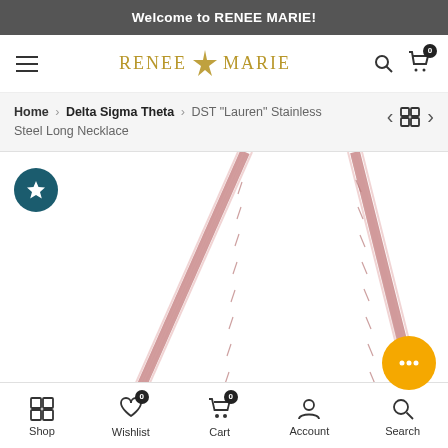Welcome to RENEE MARIE!
[Figure (screenshot): Renee Marie logo in gold with decorative star/fleur motif between RENEE and MARIE text]
Home > Delta Sigma Theta > DST "Lauren" Stainless Steel Long Necklace
[Figure (photo): Close-up product photo of a rose gold stainless steel long necklace chain forming a V shape on white background]
Shop | Wishlist | Cart | Account | Search